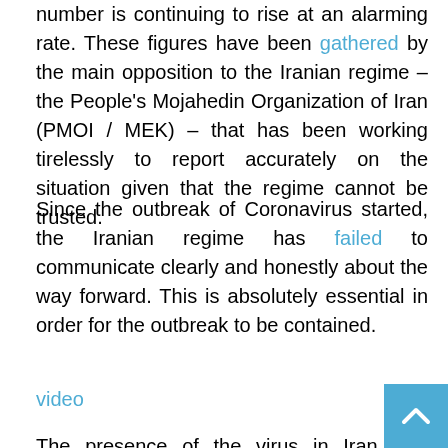number is continuing to rise at an alarming rate. These figures have been gathered by the main opposition to the Iranian regime – the People's Mojahedin Organization of Iran (PMOI / MEK) – that has been working tirelessly to report accurately on the situation given that the regime cannot be trusted.
Since the outbreak of Coronavirus started, the Iranian regime has failed to communicate clearly and honestly about the way forward. This is absolutely essential in order for the outbreak to be contained.
video
The presence of the virus in Iran was announced on 19th February but it has become clear that the Iranian regime knew about it for several weeks already at that stage. It held off admitting that cases of Coronavirus had been detected